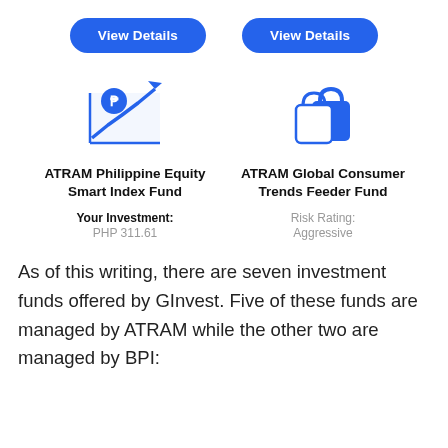View Details
View Details
[Figure (illustration): Chart icon with Philippine peso symbol and upward arrow, blue color]
[Figure (illustration): Shopping bag icon, blue color]
ATRAM Philippine Equity Smart Index Fund
ATRAM Global Consumer Trends Feeder Fund
Your Investment: PHP 311.61
Risk Rating: Aggressive
As of this writing, there are seven investment funds offered by GInvest. Five of these funds are managed by ATRAM while the other two are managed by BPI: